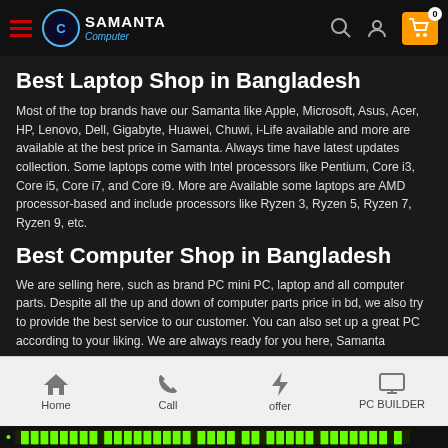Samanta Computer - navigation header with hamburger menu, logo, search, user and cart icons
Best Laptop Shop in Bangladesh
Most of the top brands have our Samanta like Apple, Microsoft, Asus, Acer, HP, Lenovo, Dell, Gigabyte, Huawei, Chuwi, i-Life available and more are available at the best price in Samanta. Always time have latest updates collection. Some laptops come with Intel processors like Pentium, Core i3, Core i5, Core i7, and Core i9. More are Available some laptops are AMD processor-based and include processors like Ryzen 3, Ryzen 5, Ryzen 7, Ryzen 9, etc.
Best Computer Shop in Bangladesh
We are selling here, such as brand PC mini PC, laptop and all computer parts. Despite all the up and down of computer parts price in bd, we also try to provide the best service to our customer. You can also set up a great PC according to your liking. We are always ready for you here, Samanta
Home | Call | offer | PC BUILDER